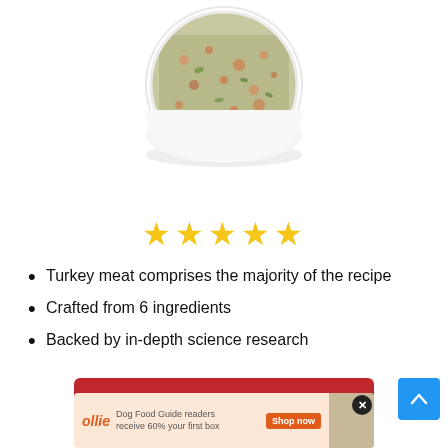[Figure (photo): A white bowl filled with crumbly turkey and vegetable dog food mixture, viewed from above, photographed on white background]
[Figure (other): Five gold star rating icons]
Turkey meat comprises the majority of the recipe
Crafted from 6 ingredients
Backed by in-depth science research
[Figure (other): Red button: VIEW LATEST PRICE →]
[Figure (other): Blue back-to-top arrow button]
[Figure (other): Ollie dog food advertisement banner: 'Dog Food Guide readers receive 60% your first box' with Shop Now button]